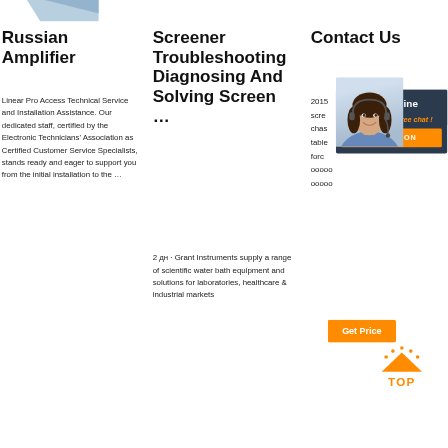[Figure (illustration): Partial blue/silver decorative shape at top left corner]
Russian Amplifier
Linear Pro Access Technical Service and Installation Assistance. Our dedicated staff, certified by the Electronic Technicians' Association as Certified Customer Service Specialists, stands ready and eager to support you from the initial installation to the …
Screener Troubleshooting Diagnosing And Solving Screen ...
2 дн · Grant Instruments supply a range of scientific water bath equipment and solutions for laboratories, healthcare & industrial markets
Contact Us
2015 scre chas table forc ооооо ооооо
[Figure (photo): Woman with headset smiling, customer service representative photo]
24/7 Online
Click here for free chat !
QUOTATION
Get Price
[Figure (illustration): TOP badge with orange triangle/arrow and dots above text TOP]